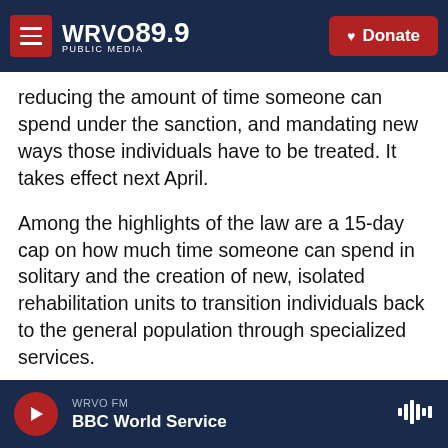WRVO PUBLIC MEDIA 89.9 | Donate
reducing the amount of time someone can spend under the sanction, and mandating new ways those individuals have to be treated. It takes effect next April.
Among the highlights of the law are a 15-day cap on how much time someone can spend in solitary and the creation of new, isolated rehabilitation units to transition individuals back to the general population through specialized services.
The intention of the law, according to its supporters and lawmakers who voted for it, is to protect the
WRVO FM | BBC World Service